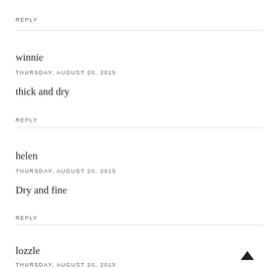REPLY
winnie
THURSDAY, AUGUST 20, 2015
thick and dry
REPLY
helen
THURSDAY, AUGUST 20, 2015
Dry and fine
REPLY
lozzle
THURSDAY, AUGUST 20, 2015